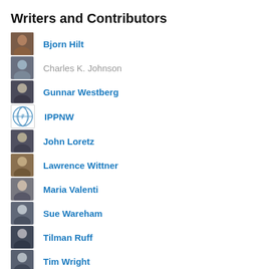Writers and Contributors
Bjorn Hilt
Charles K. Johnson
Gunnar Westberg
IPPNW
John Loretz
Lawrence Wittner
Maria Valenti
Sue Wareham
Tilman Ruff
Tim Wright
Xanthe Hall